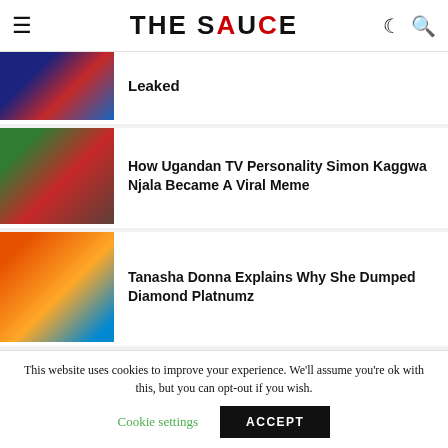THE SAUCE (logo navigation bar)
[Figure (photo): Partially visible article thumbnail with dark blue and red tones]
Leaked
[Figure (photo): Man in dark suit with red tie standing outdoors with green trees in background]
How Ugandan TV Personality Simon Kaggwa Njala Became A Viral Meme
[Figure (photo): Woman with long dark hair in orange and blue background]
Tanasha Donna Explains Why She Dumped Diamond Platnumz
[Figure (illustration): Freemasons square and compass symbol with G in center on tan/gold background]
Freemasons Of Nairobi Welcome New Members To Grand Lodge
This website uses cookies to improve your experience. We'll assume you're ok with this, but you can opt-out if you wish.
Cookie settings  ACCEPT